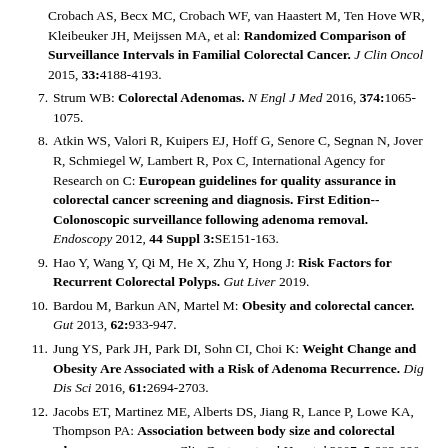Crobach AS, Becx MC, Crobach WF, van Haastert M, Ten Hove WR, Kleibeuker JH, Meijssen MA, et al: Randomized Comparison of Surveillance Intervals in Familial Colorectal Cancer. J Clin Oncol 2015, 33:4188-4193.
7. Strum WB: Colorectal Adenomas. N Engl J Med 2016, 374:1065-1075.
8. Atkin WS, Valori R, Kuipers EJ, Hoff G, Senore C, Segnan N, Jover R, Schmiegel W, Lambert R, Pox C, International Agency for Research on C: European guidelines for quality assurance in colorectal cancer screening and diagnosis. First Edition--Colonoscopic surveillance following adenoma removal. Endoscopy 2012, 44 Suppl 3:SE151-163.
9. Hao Y, Wang Y, Qi M, He X, Zhu Y, Hong J: Risk Factors for Recurrent Colorectal Polyps. Gut Liver 2019.
10. Bardou M, Barkun AN, Martel M: Obesity and colorectal cancer. Gut 2013, 62:933-947.
11. Jung YS, Park JH, Park DI, Sohn CI, Choi K: Weight Change and Obesity Are Associated with a Risk of Adenoma Recurrence. Dig Dis Sci 2016, 61:2694-2703.
12. Jacobs ET, Martinez ME, Alberts DS, Jiang R, Lance P, Lowe KA, Thompson PA: Association between body size and colorectal adenoma recurrence. Clin Gastroenterol Hepatol 2007, 5:982-990.
13. Gunter MJ, Hoover DR, Yu H, Wassertheil-Smoller S,